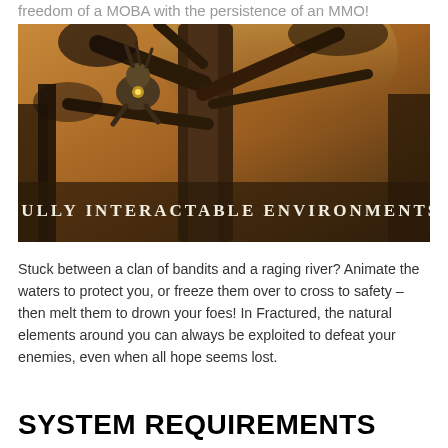freedom of a MOBA with the persistence of an MMO!
[Figure (illustration): Fantasy game artwork showing a beast-like creature perched in a large tree with dramatic lighting and warm brown tones. Text overlay reads 'FULLY INTERACTABLE ENVIRONMENTS' in bold serif letters at the bottom.]
Stuck between a clan of bandits and a raging river? Animate the waters to protect you, or freeze them over to cross to safety – then melt them to drown your foes! In Fractured, the natural elements around you can always be exploited to defeat your enemies, even when all hope seems lost.
SYSTEM REQUIREMENTS
MINIMUM:
OS: Windows 7, 8 or 10 (64-bit)
Processor: Intel Core i3 (2nd gen) or equivalent AMD